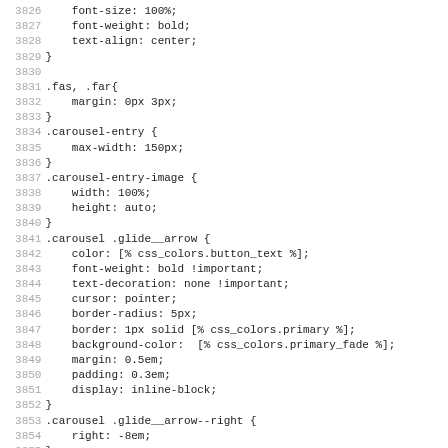[Figure (screenshot): Code listing showing CSS stylesheet source lines 3826-3858, displayed with line numbers on the left and monospace code on the right. The code includes CSS rules for font-size, font-weight, text-align, .fas/.far margin, .carousel-entry max-width, .carousel-entry-image width/height, .carousel .glide__arrow with color/font-weight/text-decoration/cursor/border-radius/border/background-color/margin/padding/display, .carousel .glide__arrow--right right, and .carousel .glide__arrow--left left properties.]